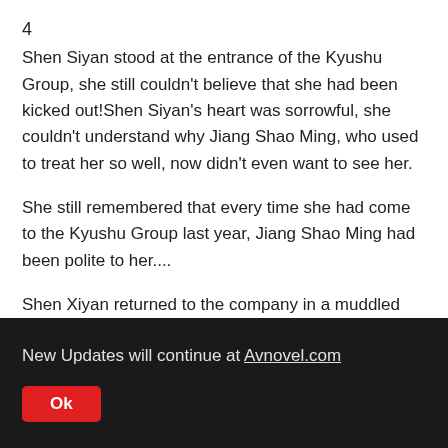4
Shen Siyan stood at the entrance of the Kyushu Group, she still couldn't believe that she had been kicked out!Shen Siyan's heart was sorrowful, she couldn't understand why Jiang Shao Ming, who used to treat her so well, now didn't even want to see her.
She still remembered that every time she had come to the Kyushu Group last year, Jiang Shao Ming had been polite to her....
Shen Xiyan returned to the company in a muddled state, and everyone in the company shivered at the look on her face.The sales manager asked carefully, "Shen, how was
New Updates will continue at Avnovel.com
Ok